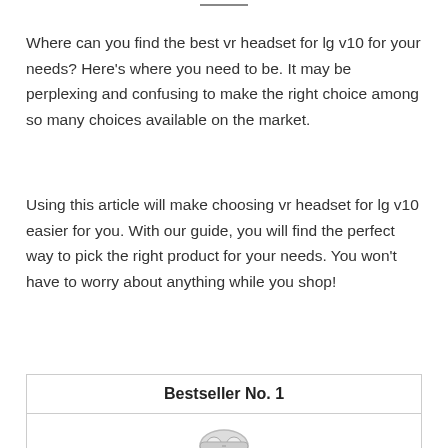Where can you find the best vr headset for lg v10 for your needs? Here's where you need to be. It may be perplexing and confusing to make the right choice among so many choices available on the market.
Using this article will make choosing vr headset for lg v10 easier for you. With our guide, you will find the perfect way to pick the right product for your needs. You won't have to worry about anything while you shop!
Bestseller No. 1
[Figure (photo): Product image of a VR headset, partially visible at the bottom of the page]